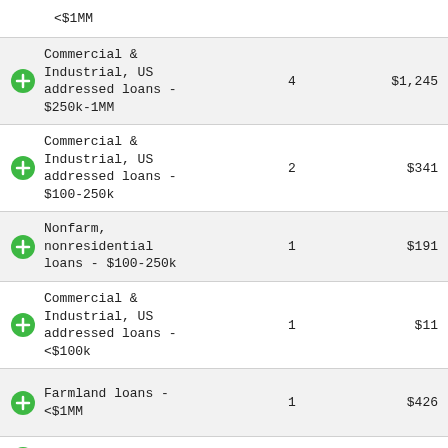| Loan Type | Count | Amount |
| --- | --- | --- |
| <$1MM |  |  |
| Commercial & Industrial, US addressed loans - $250k-1MM | 4 | $1,245 |
| Commercial & Industrial, US addressed loans - $100-250k | 2 | $341 |
| Nonfarm, nonresidential loans - $100-250k | 1 | $191 |
| Commercial & Industrial, US addressed loans - <$100k | 1 | $11 |
| Farmland loans - <$1MM | 1 | $426 |
| Farmland loans - | 1 | $426 |